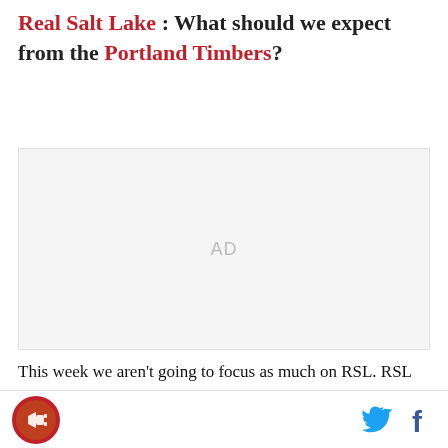Real Salt Lake : What should we expect from the Portland Timbers?
[Figure (other): Advertisement placeholder block with 'AD' text in center on light gray background]
This week we aren't going to focus as much on RSL. RSL had a solid performance in LA, despite the loss.
Site logo (RSL megaphone icon), Twitter icon, Facebook icon